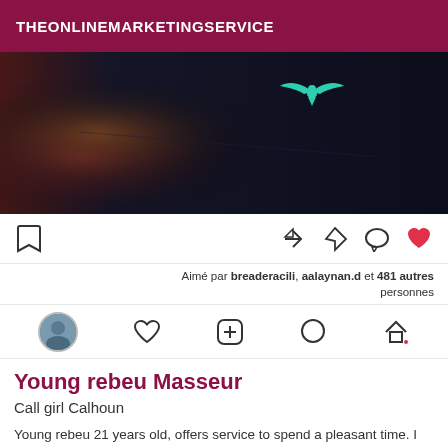THEONLINEMARKETINGSERVICE
[Figure (photo): Dark photo showing what appears to be a person's back wearing dark clothing with a small teal bird/eagle logo visible on the upper right area. Left side shows some orange/red color.]
[Figure (screenshot): Social media action bar with bookmark icon on left, and send/comment/heart icons on right. Below: mirrored French text 'Aimé par breaderacili, aalaynan.d et 481 autres personnes'. Navigation bar with avatar, heart, plus, chat, home icons.]
Young rebeu Masseur
Call girl Calhoun
Young rebeu 21 years old, offers service to spend a pleasant time. I move and receive in Calhoun. See you